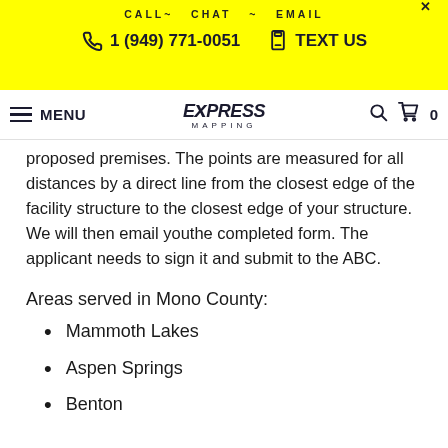CALL~ CHAT ~ EMAIL
1 (949) 771-0051  TEXT US
MENU  EXPRESS MAPPING  0
proposed premises. The points are measured for all distances by a direct line from the closest edge of the facility structure to the closest edge of your structure. We will then email youthe completed form. The applicant needs to sign it and submit to the ABC.
Areas served in Mono County:
Mammoth Lakes
Aspen Springs
Benton